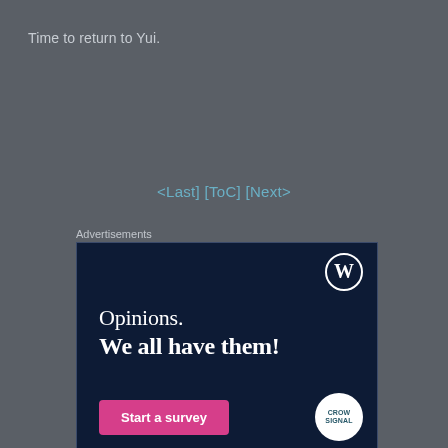Time to return to Yui.
<Last] [ToC] [Next>
Advertisements
[Figure (illustration): WordPress advertisement banner with dark navy background. Shows WordPress logo (W in circle) in top right. Text reads 'Opinions. We all have them!' A pink 'Start a survey' button is in the bottom left. CrowdSignal logo appears in bottom right as a white circle with teal text.]